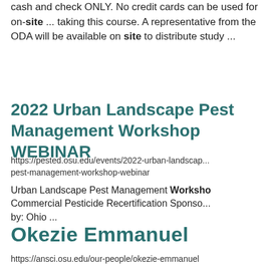cash and check ONLY. No credit cards can be used for on-site ... taking this course. A representative from the ODA will be available on site to distribute study ...
2022 Urban Landscape Pest Management Workshop WEBINAR
https://pested.osu.edu/events/2022-urban-landscape-pest-management-workshop-webinar
Urban Landscape Pest Management Workshop Commercial Pesticide Recertification Sponsored by: Ohio ...
Okezie Emmanuel
https://ansci.osu.edu/our-people/okezie-emmanuel